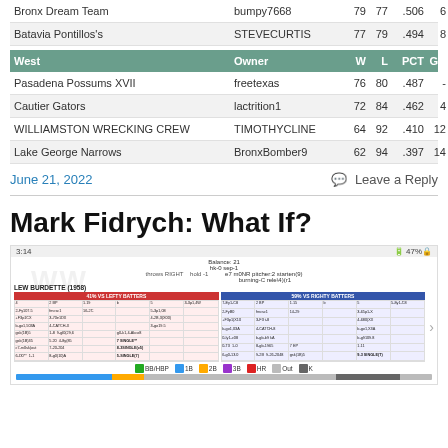| Team | Owner | W | L | PCT | GB |
| --- | --- | --- | --- | --- | --- |
| Bronx Dream Team | bumpy7668 | 79 | 77 | .506 | 6 |
| Batavia Pontillos's | STEVECURTIS | 77 | 79 | .494 | 8 |
| West | Owner | W | L | PCT | GB |
| --- | --- | --- | --- | --- | --- |
| Pasadena Possums XVII | freetexas | 76 | 80 | .487 | - |
| Cautier Gators | lactrition1 | 72 | 84 | .462 | 4 |
| WILLIAMSTON WRECKING CREW | TIMOTHYCLINE | 64 | 92 | .410 | 12 |
| Lake George Narrows | BronxBomber9 | 62 | 94 | .397 | 14 |
June 21, 2022
Leave a Reply
Mark Fidrych: What If?
[Figure (screenshot): Mobile screenshot of a baseball simulation game card showing pitcher LEW BURDETTE (1958) with stats panels for vs lefty batters and vs righty batters, with balance and hold information, and a legend bar below showing BB/HBP, 1B, 2B, 3B, HR, Out, K categories with colored indicators]